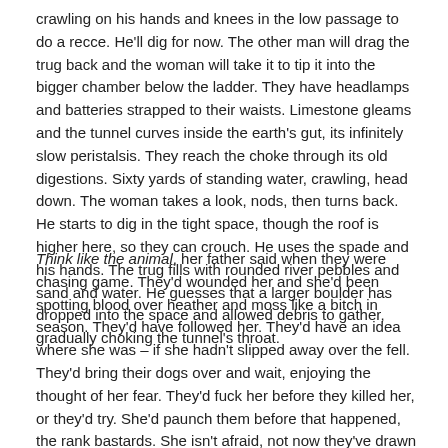crawling on his hands and knees in the low passage to do a recce. He'll dig for now. The other man will drag the trug back and the woman will take it to tip it into the bigger chamber below the ladder. They have headlamps and batteries strapped to their waists. Limestone gleams and the tunnel curves inside the earth's gut, its infinitely slow peristalsis. They reach the choke through its old digestions. Sixty yards of standing water, crawling, head down. The woman takes a look, nods, then turns back. He starts to dig in the tight space, though the roof is higher here, so they can crouch. He uses the spade and his hands. The trug fills with rounded river pebbles and sand and water. He guesses that a larger boulder has dropped into the space and allowed debris to gather, gradually choking the tunnel's throat.
Think like the animal, her father said when they were chasing game. They'd wounded her and she'd been spotting blood over heather and moss like a bitch in season. They'd have followed her. They'd have an idea where she was – if she hadn't slipped away over the fell. They'd bring their dogs over and wait, enjoying the thought of her fear. They'd fuck her before they killed her, or they'd try. She'd paunch them before that happened, the rank bastards. She isn't afraid, not now they've drawn blood. She's in hate of them and always has been and always will be after Daniel. Hannah creeps back to the cave entrance, crouching behind the sheet of falling water. She thinks she smells a peat fire, hears the whimper of hounds.